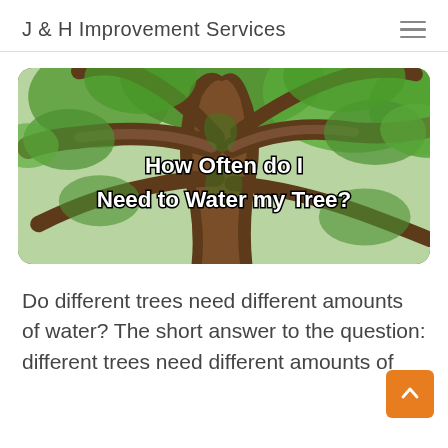J & H Improvement Services
[Figure (photo): Large old oak tree with massive twisted branches covered in green moss and foliage, with overlaid text reading 'How Often do I Need to Water my Tree?']
Do different trees need different amounts of water? The short answer to the question: different trees need different amounts of